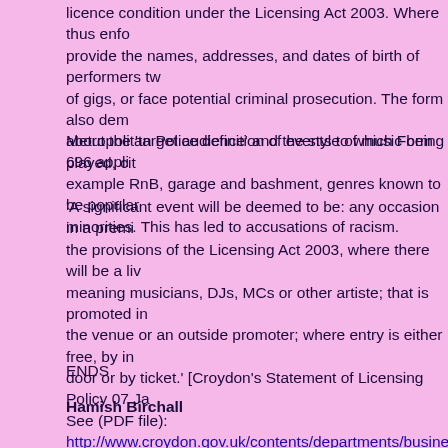licence condition under the Licensing Act 2003. Where thus enforced, promoters must provide the names, addresses, and dates of birth of performers two weeks in advance of gigs, or face potential criminal prosecution. The form also demands information about the 'target audience' and the style of music being played, citing as examples RnB, garage and bashment, genres known to be popular with ethnic minorities. This has led to accusations of racism.
Metropolitan Police definition of events to which Form 696 applies:
'A significant event will be deemed to be: any occasion in a premises licensed under the provisions of the Licensing Act 2003, where there will be a live or recorded music, meaning musicians, DJs, MCs or other artiste; that is promoted in any way; by either the venue or an outside promoter; where entry is either free, by invitation, payment at the door or by ticket.' [Croydon's Statement of Licensing Policy 07 January 2008, p35. See (PDF file): http://www.croydon.gov.uk/contents/departments/business/pdf/59 Search within the document for 'Significant Event'
ENDS
Hamish Birchall